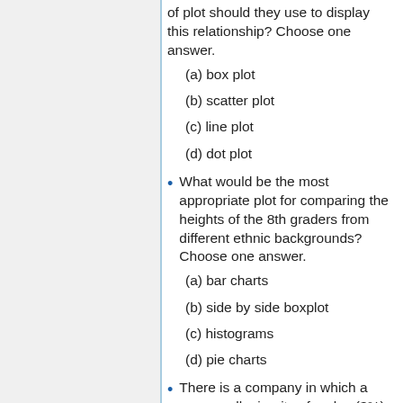of plot should they use to display this relationship? Choose one answer.
(a) box plot
(b) scatter plot
(c) line plot
(d) dot plot
What would be the most appropriate plot for comparing the heights of the 8th graders from different ethnic backgrounds? Choose one answer.
(a) bar charts
(b) side by side boxplot
(c) histograms
(d) pie charts
There is a company in which a very small minority of males (3%) receives three times the median salary of all males, and a very small minority of females (3%) receives one-third of